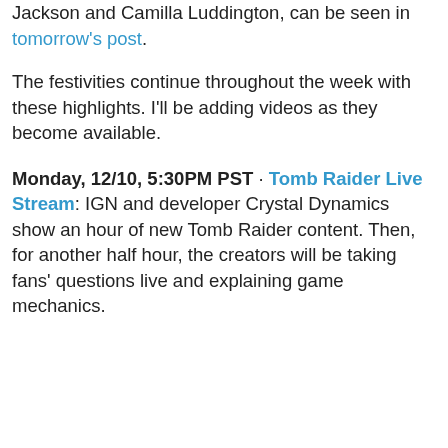Jackson and Camilla Luddington, can be seen in tomorrow's post.
The festivities continue throughout the week with these highlights. I'll be adding videos as they become available.
Monday, 12/10, 5:30PM PST · Tomb Raider Live Stream: IGN and developer Crystal Dynamics show an hour of new Tomb Raider content. Then, for another half hour, the creators will be taking fans' questions live and explaining game mechanics.